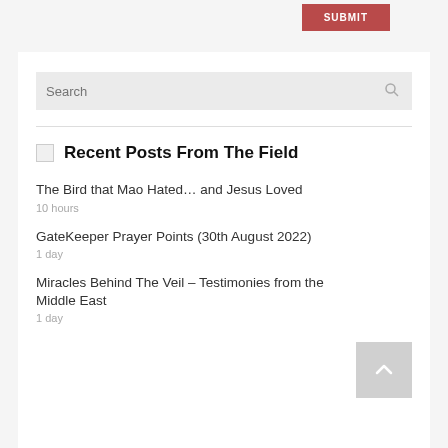[Figure (screenshot): SUBMIT button in dark red/crimson color at top right]
[Figure (screenshot): Search input box with magnifying glass icon]
Recent Posts From The Field
The Bird that Mao Hated… and Jesus Loved
10 hours
GateKeeper Prayer Points (30th August 2022)
1 day
Miracles Behind The Veil – Testimonies from the Middle East
1 day